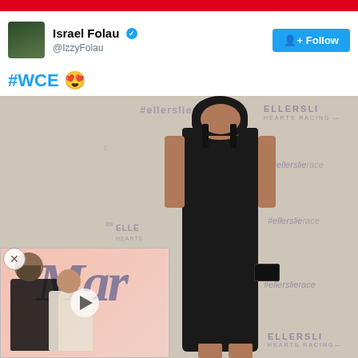Israel Folau @IzzyFolau
#WCE 😍
[Figure (photo): Woman in black dress posing in front of Ellerslie Hearts Racing step-and-repeat backdrop. An overlapping video thumbnail ad showing a couple (man in black suit, woman in white) with 'Mar' text and a play button is visible in the lower left corner. A close/X button appears next to the ad.]